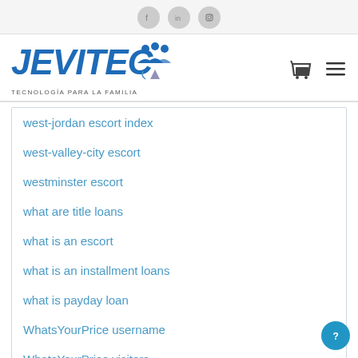[Figure (logo): Social media icons: Facebook, LinkedIn, Instagram in gray circles]
[Figure (logo): JEVITEC logo with tagline TECNOLOGÍA PARA LA FAMILIA and cart/menu icons]
west-jordan escort index
west-valley-city escort
westminster escort
what are title loans
what is an escort
what is an installment loans
what is payday loan
WhatsYourPrice username
WhatsYourPrice visitors